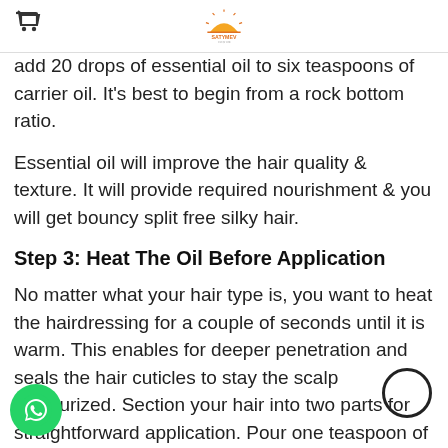SATYMEV logo header
oils. For 2.5% dilution, use 15 drops of volatile oil per 6 teaspoons of carrier oil. For 3% dilution, add 20 drops of essential oil to six teaspoons of carrier oil. It's best to begin from a rock bottom ratio.
Essential oil will improve the hair quality & texture. It will provide required nourishment & you will get bouncy split free silky hair.
Step 3: Heat The Oil Before Application
No matter what your hair type is, you want to heat the hairdressing for a couple of seconds until it is warm. This enables for deeper penetration and seals the hair cuticles to stay the scalp moisturized. Section your hair into two parts for straightforward application. Pour one teaspoon of oil on your palm and spread it well using your